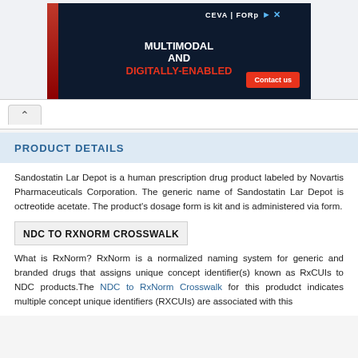[Figure (illustration): Advertisement banner for CEVA Logistics FORp. Dark navy background with text: MULTIMODAL AND DIGITALLY-ENABLED. Red Contact us button. CEVA logo top right.]
PRODUCT DETAILS
Sandostatin Lar Depot is a human prescription drug product labeled by Novartis Pharmaceuticals Corporation. The generic name of Sandostatin Lar Depot is octreotide acetate. The product's dosage form is kit and is administered via form.
NDC TO RXNORM CROSSWALK
What is RxNorm? RxNorm is a normalized naming system for generic and branded drugs that assigns unique concept identifier(s) known as RxCUIs to NDC products.The NDC to RxNorm Crosswalk for this produdct indicates multiple concept unique identifiers (RXCUIs) are associated with this